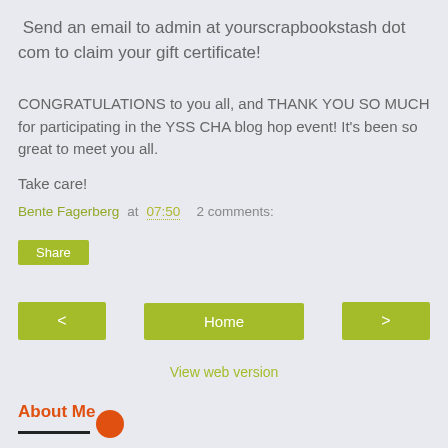Send an email to admin at yourscrapbookstash dot com to claim your gift certificate!
CONGRATULATIONS to you all, and THANK YOU SO MUCH for participating in the YSS CHA blog hop event! It's been so great to meet you all.

Take care!
Bente Fagerberg at 07:50   2 comments:
Share
< Home >
View web version
About Me